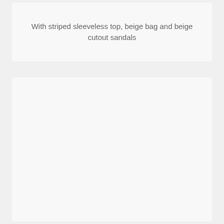With striped sleeveless top, beige bag and beige cutout sandals
[Figure (photo): Empty light gray/beige card placeholder area below the text caption]